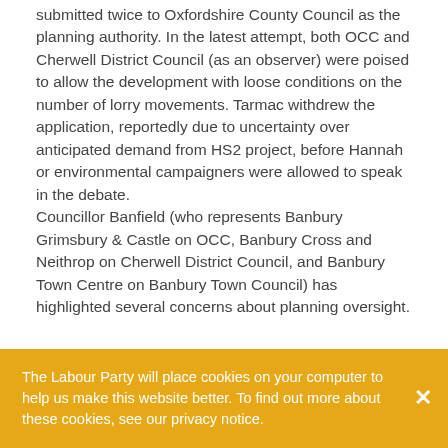submitted twice to Oxfordshire County Council as the planning authority.  In the latest attempt, both OCC and Cherwell District Council (as an observer) were poised to allow the development with loose conditions on the number of lorry movements.  Tarmac withdrew the application, reportedly due to uncertainty over anticipated demand from HS2 project, before Hannah or environmental campaigners were allowed to speak in the debate.
Councillor Banfield (who represents Banbury Grimsbury & Castle on OCC, Banbury Cross and Neithrop on Cherwell District Council, and Banbury Town Centre on Banbury Town Council) has highlighted several concerns about planning oversight.
The Labour Party will place cookies on your computer to help us make this website better. To find out more about these cookies, see our privacy notice.